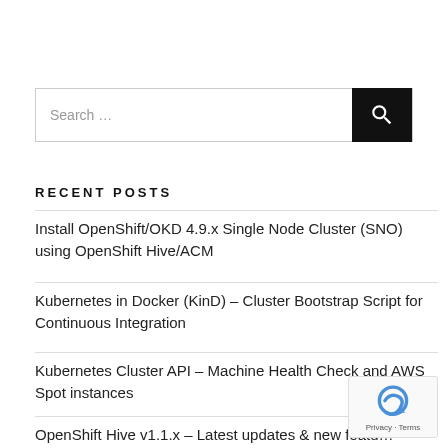Search …
RECENT POSTS
Install OpenShift/OKD 4.9.x Single Node Cluster (SNO) using OpenShift Hive/ACM
Kubernetes in Docker (KinD) – Cluster Bootstrap Script for Continuous Integration
Kubernetes Cluster API – Machine Health Check and AWS Spot instances
OpenShift Hive v1.1.x – Latest updates & new featu…